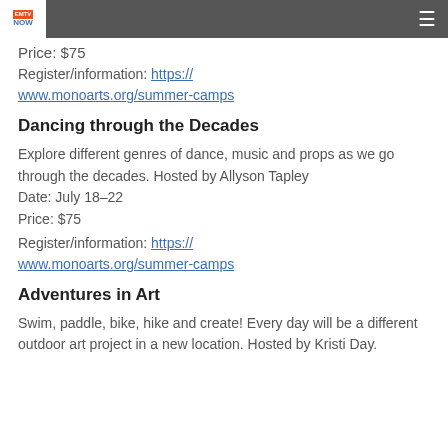NOW
Price: $75
Register/information: https://www.monoarts.org/summer-camps
Dancing through the Decades
Explore different genres of dance, music and props as we go through the decades. Hosted by Allyson Tapley
Date: July 18-22
Price: $75
Register/information: https://www.monoarts.org/summer-camps
Adventures in Art
Swim, paddle, bike, hike and create! Every day will be a different outdoor art project in a new location. Hosted by Kristi Day.